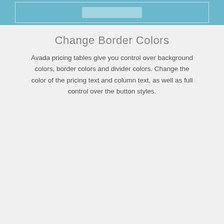[Figure (screenshot): Top blue banner with inner bordered box and light blue placeholder element]
Change Border Colors
Avada pricing tables give you control over background colors, border colors and divider colors. Change the color of the pricing text and column text, as well as full control over the button styles.
| Professional |
| $39.99 monthly |
| 15 Projects |